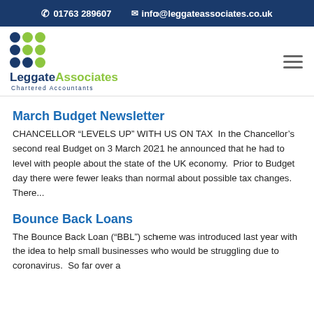01763 289607  info@leggateassociates.co.uk
[Figure (logo): Leggate Associates Chartered Accountants logo with blue and green dot grid]
March Budget Newsletter
CHANCELLOR “LEVELS UP” WITH US ON TAX  In the Chancellor’s second real Budget on 3 March 2021 he announced that he had to level with people about the state of the UK economy.  Prior to Budget day there were fewer leaks than normal about possible tax changes.  There...
Bounce Back Loans
The Bounce Back Loan (“BBL”) scheme was introduced last year with the idea to help small businesses who would be struggling due to coronavirus.  So far over a